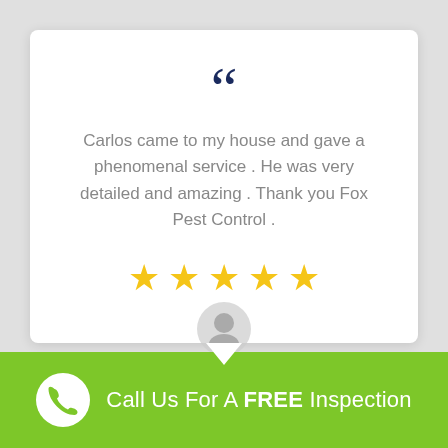[Figure (illustration): White card with speech-bubble pointer containing a review quote, double quotation mark icon in dark navy, review text, and five yellow stars]
Carlos came to my house and gave a phenomenal service . He was very detailed and amazing . Thank you Fox Pest Control .
[Figure (illustration): Circular grey avatar/person profile icon below the speech bubble card]
Call Us For A FREE Inspection